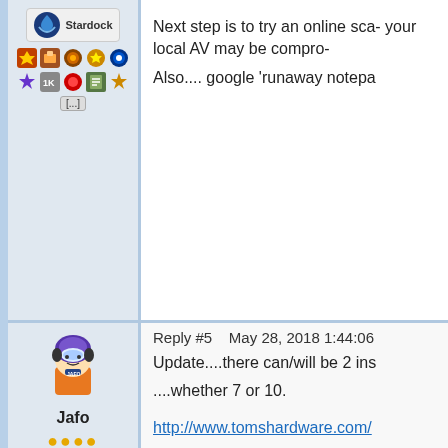Next step is to try an online sca- your local AV may be compro-
Also.... google 'runaway notepa
Reply #5    May 28, 2018 1:44:06
[Figure (illustration): Jafo avatar - pixel art character with headphones]
Jafo
Join Date 03/2001
+1504
Update....there can/will be 2 ins
....whether 7 or 10.
http://www.tomshardware.com/
Give that link a read ....suggest